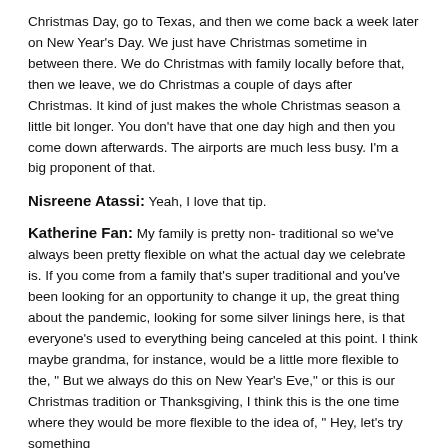Christmas Day, go to Texas, and then we come back a week later on New Year's Day. We just have Christmas sometime in between there. We do Christmas with family locally before that, then we leave, we do Christmas a couple of days after Christmas. It kind of just makes the whole Christmas season a little bit longer. You don't have that one day high and then you come down afterwards. The airports are much less busy. I'm a big proponent of that.
Nisreene Atassi: Yeah, I love that tip.
Katherine Fan: My family is pretty non- traditional so we've always been pretty flexible on what the actual day we celebrate is. If you come from a family that's super traditional and you've been looking for an opportunity to change it up, the great thing about the pandemic, looking for some silver linings here, is that everyone's used to everything being canceled at this point. I think maybe grandma, for instance, would be a little more flexible to the, " But we always do this on New Year's Eve," or this is our Christmas tradition or Thanksgiving, I think this is the one time where they would be more flexible to the idea of, " Hey, let's try something